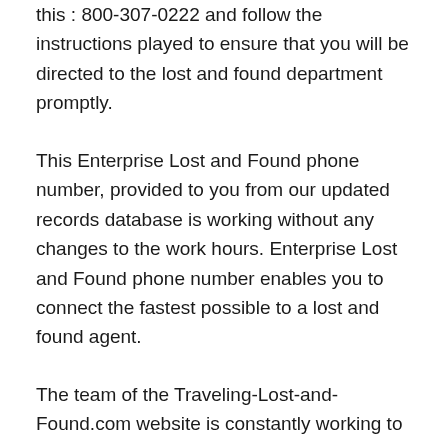this : 800-307-0222 and follow the instructions played to ensure that you will be directed to the lost and found department promptly.
This Enterprise Lost and Found phone number, provided to you from our updated records database is working without any changes to the work hours. Enterprise Lost and Found phone number enables you to connect the fastest possible to a lost and found agent.
The team of the Traveling-Lost-and-Found.com website is constantly working to